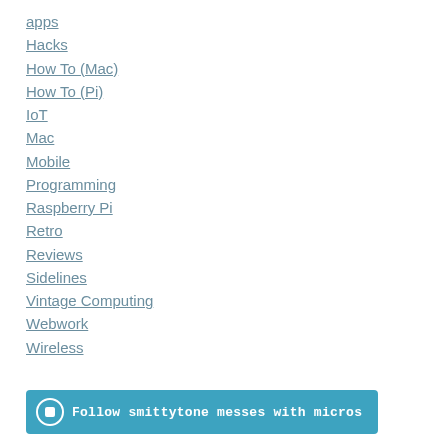apps
Hacks
How To (Mac)
How To (Pi)
IoT
Mac
Mobile
Programming
Raspberry Pi
Retro
Reviews
Sidelines
Vintage Computing
Webwork
Wireless
Follow smittytone messes with micros